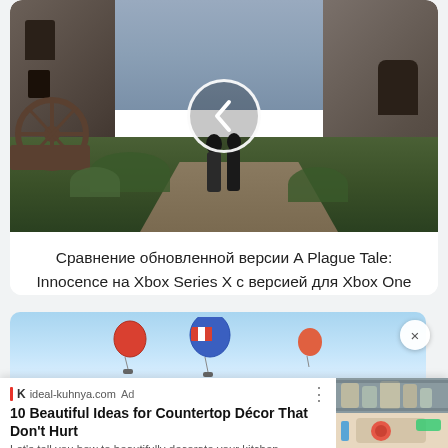[Figure (screenshot): Screenshot from A Plague Tale: Innocence video game showing a dark medieval village scene with stone buildings, a wooden cart wheel on the left, two figures in the center-bottom, overgrown grass, and a cloudy sky. A white circle navigation arrow (left chevron) is overlaid in the center.]
Сравнение обновленной версии A Plague Tale: Innocence на Xbox Series X с версией для Xbox One X
[Figure (photo): Partial image showing hot air balloons over what appears to be a cityscape with blue sky, with a close/X button overlay in the top right corner.]
[Figure (screenshot): Advertisement card from ideal-kuhnya.com showing kitchen countertop décor images on the right side (glass jars on shelves, cutting board with vegetables).]
ideal-kuhnya.com Ad
10 Beautiful Ideas for Countertop Décor That Don't Hurt
Let's tell you how to beautifully decorate your kitchen countertop.